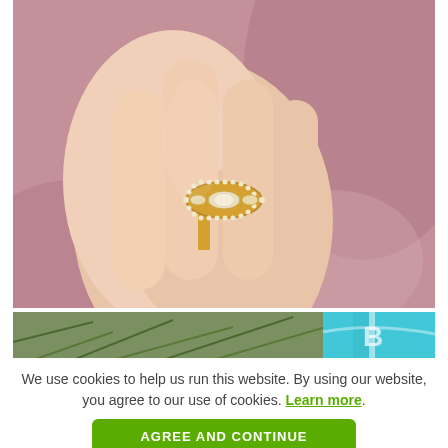[Figure (photo): Close-up photo of a hand wearing a gold diamond engagement ring with marquise/eye-shaped design and small diamonds, against a pink velvet background]
[Figure (photo): Partial view of pine branches and a teal/turquoise gift box, partially visible at the bottom]
We use cookies to help us run this website. By using our website, you agree to our use of cookies. Learn more.
AGREE AND CONTINUE